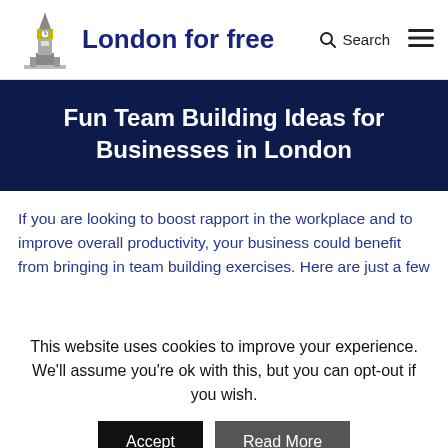London for free — Search | menu
Fun Team Building Ideas for Businesses in London
If you are looking to boost rapport in the workplace and to improve overall productivity, your business could benefit from bringing in team building exercises. Here are just a few
This website uses cookies to improve your experience. We'll assume you're ok with this, but you can opt-out if you wish.
Accept | Read More